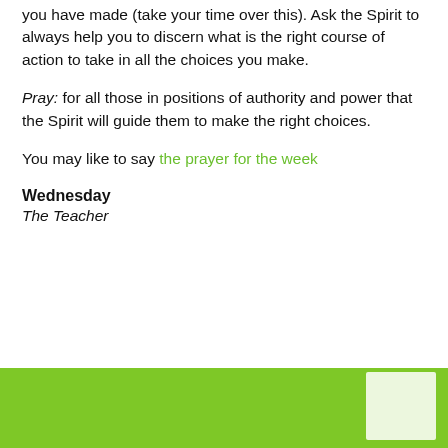you have made (take your time over this). Ask the Spirit to always help you to discern what is the right course of action to take in all the choices you make.
Pray: for all those in positions of authority and power that the Spirit will guide them to make the right choices.
You may like to say the prayer for the week
Wednesday
The Teacher